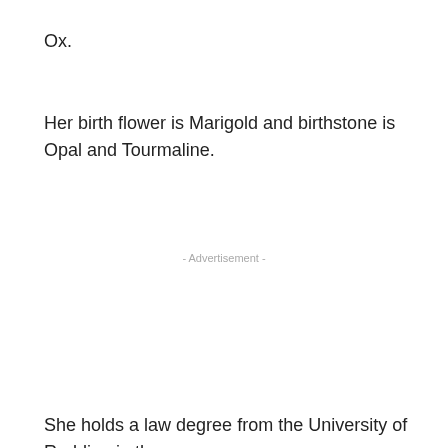Ox.
Her birth flower is Marigold and birthstone is Opal and Tourmaline.
- Advertisement -
She holds a law degree from the University of Redding in the